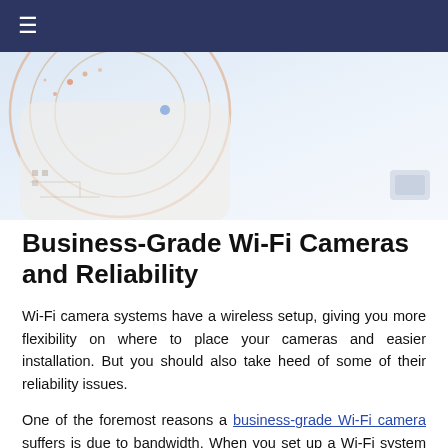≡
[Figure (photo): Close-up photo of a Wi-Fi router or circuit board with colorful markings on a light background, partially cut off at top.]
Business-Grade Wi-Fi Cameras and Reliability
Wi-Fi camera systems have a wireless setup, giving you more flexibility on where to place your cameras and easier installation. But you should also take heed of some of their reliability issues.
One of the foremost reasons a business-grade Wi-Fi camera suffers is due to bandwidth. When you set up a Wi-Fi system at your business, only a certain amount of data can be transmitted at a certain time. If something starts to eat up this bandwidth —